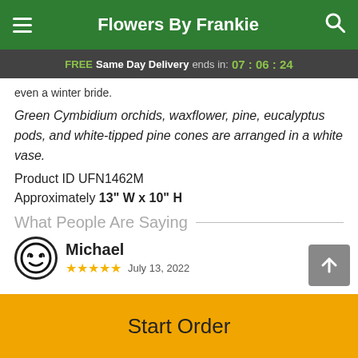Flowers By Frankie
FREE Same Day Delivery ends in: 07:06:24
even a winter bride.
Green Cymbidium orchids, waxflower, pine, eucalyptus pods, and white-tipped pine cones are arranged in a white vase.
Product ID UFN1462M
Approximately 13" W x 10" H
What People Are Saying
Michael
July 13, 2022
Start Order